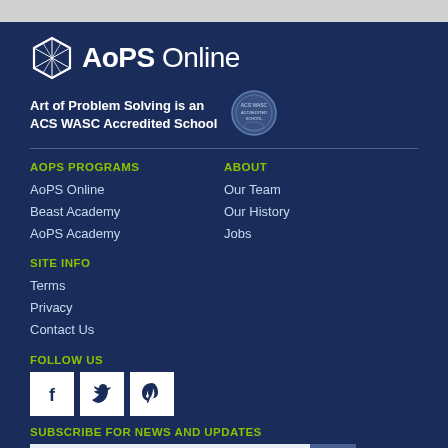[Figure (logo): AoPS Online logo with hexagon icon and text]
Art of Problem Solving is an ACS WASC Accredited School
AOPS PROGRAMS
AoPS Online
Beast Academy
AoPS Academy
ABOUT
Our Team
Our History
Jobs
SITE INFO
Terms
Privacy
Contact Us
FOLLOW US
[Figure (logo): Social media icons: Facebook, Twitter, Pinterest]
SUBSCRIBE FOR NEWS AND UPDATES
Enter email subscription input field